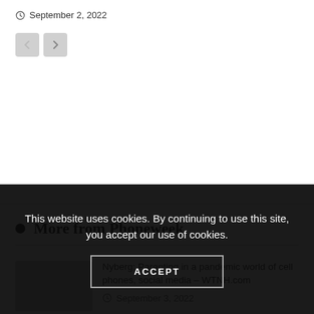September 2, 2022
[Figure (other): Previous and next navigation buttons (left arrow disabled, right arrow enabled)]
More from Phoneweek
Nyberg: Parenting in a pandemic world of cell phones, social media – WTNH.com
September 3, 2022
This website uses cookies. By continuing to use this site, you accept our use of cookies.
ACCEPT